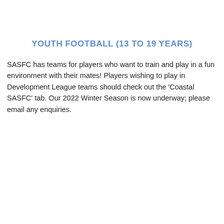YOUTH FOOTBALL (13 TO 19 YEARS)
SASFC has teams for players who want to train and play in a fun environment with their mates! Players wishing to play in Development League teams should check out the 'Coastal SASFC' tab. Our 2022 Winter Season is now underway; please email any enquiries.
SENIOR FOOTBALL
SASFC Senior Managers play through the Winter Season in the...